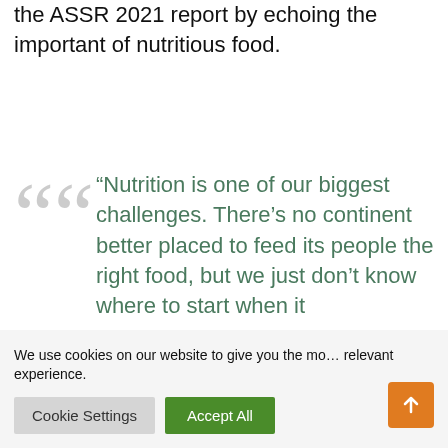the ASSR 2021 report by echoing the important of nutritious food.
“Nutrition is one of our biggest challenges. There’s no continent better placed to feed its people the right food, but we just don’t know where to start when it
We use cookies on our website to give you the most relevant experience.